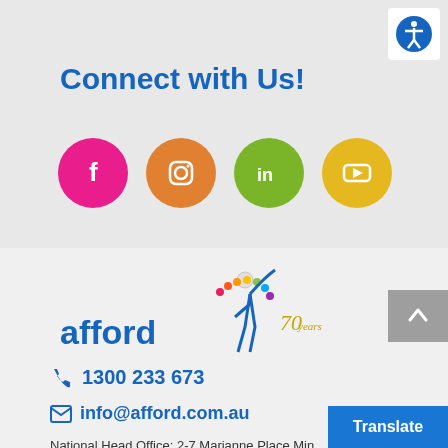Connect with Us!
[Figure (infographic): Four social media icon circles: Facebook (pink/magenta), Instagram (orange), LinkedIn (green), YouTube (yellow)]
[Figure (logo): Afford logo with colorful figure and '70 years' anniversary mark]
1300 233 673
info@afford.com.au
National Head Office: 2-7 Marianne Place Min...